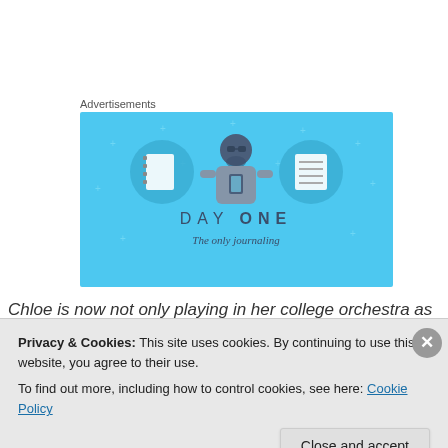Advertisements
[Figure (illustration): Day One journaling app advertisement banner. Blue background with illustrated character holding a phone, flanked by two circular icons showing notebook/journal images. Text reads 'DAY ONE' and 'The only journaling']
Chloe is now not only playing in her college orchestra as
Privacy & Cookies: This site uses cookies. By continuing to use this website, you agree to their use.
To find out more, including how to control cookies, see here: Cookie Policy
Close and accept